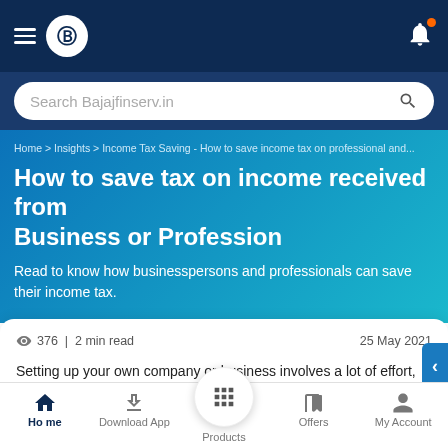[Figure (screenshot): Bajaj Finserv mobile app navigation bar with hamburger menu, logo, and bell notification icon]
Search Bajajfinserv.in
Home > Insights > Income Tax Saving - How to save income tax on professional and...
How to save tax on income received from Business or Profession
Read to know how businesspersons and professionals can save their income tax.
376 | 2 min read
25 May 2021
Setting up your own company or business involves a lot of effort, and in order to make it an independent legal entity you will have to abide by certain regulations and forms. Paying tax basis you
Home  Download App  Products  Offers  My Account